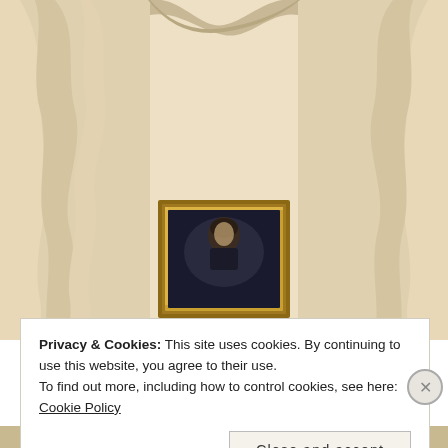[Figure (photo): A framed portrait painting of Napoleon Bonaparte hung against draped cream/beige satin curtains. The small gold-framed portrait shows a young man in dark clothing, centered against the flowing fabric backdrop.]
Privacy & Cookies: This site uses cookies. By continuing to use this website, you agree to their use.
To find out more, including how to control cookies, see here: Cookie Policy
Close and accept
NAPOLEON AS